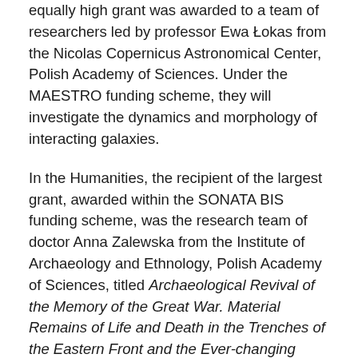equally high grant was awarded to a team of researchers led by professor Ewa Łokas from the Nicolas Copernicus Astronomical Center, Polish Academy of Sciences. Under the MAESTRO funding scheme, they will investigate the dynamics and morphology of interacting galaxies.
In the Humanities, the recipient of the largest grant, awarded within the SONATA BIS funding scheme, was the research team of doctor Anna Zalewska from the Institute of Archaeology and Ethnology, Polish Academy of Sciences, titled Archaeological Revival of the Memory of the Great War. Material Remains of Life and Death in the Trenches of the Eastern Front and the Ever-changing Battlescape of the Rawka and Bzura Region (1914-2014). The research will be financed with ca. € 350,000.
“I like to think that behind the ever-increasing interest in